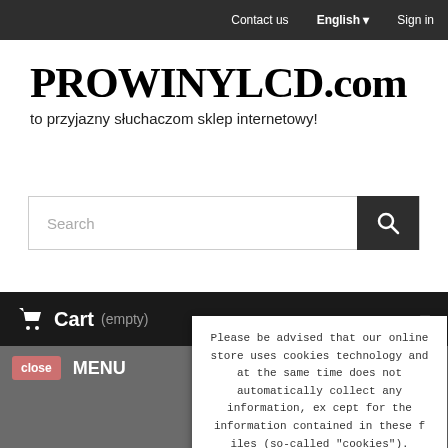Contact us  English  Sign in
PROWINYLCD.com
to przyjazny słuchaczom sklep internetowy!
[Figure (screenshot): Search bar with magnifying glass icon button]
Cart (empty)
close  MENU
Please be advised that our online store uses cookies technology and at the same time does not automatically collect any information, except for the information contained in these files (so-called "cookies").